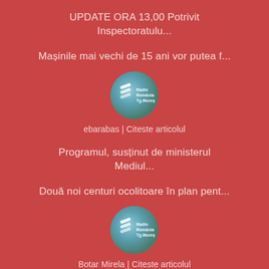UPDATE ORA 13,00 Potrivit Inspectoratulu...
Mașinile mai vechi de 15 ani vor putea f...
[Figure (logo): Radio România Tg.Mureș circular logo with antenna/wave graphic on blue-green gradient background]
ebarabas | Citeste articolul
Programul, susținut de ministerul Mediul...
Două noi centuri ocolitoare în plan pent...
[Figure (logo): Radio România Tg.Mureș circular logo with antenna/wave graphic on blue-green gradient background]
Botar Mirela | Citeste articolul